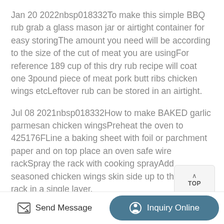Jan 20 2022nbsp018332To make this simple BBQ rub grab a glass mason jar or airtight container for easy storingThe amount you need will be according to the size of the cut of meat you are usingFor reference 189 cup of this dry rub recipe will coat one 3pound piece of meat pork butt ribs chicken wings etcLeftover rub can be stored in an airtight.
Jul 08 2021nbsp018332How to make BAKED garlic parmesan chicken wingsPreheat the oven to 425176FLine a baking sheet with foil or parchment paper and on top place an oven safe wire rackSpray the rack with cooking sprayAdd seasoned chicken wings skin side up to the wire rack in a single layer.
[Figure (other): TOP navigation button with upward chevron arrow]
Send Message
Inquiry Online